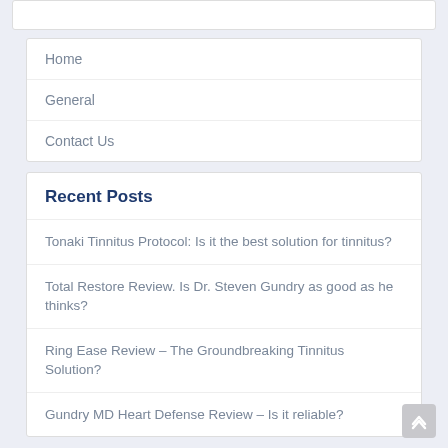Home
General
Contact Us
Recent Posts
Tonaki Tinnitus Protocol: Is it the best solution for tinnitus?
Total Restore Review. Is Dr. Steven Gundry as good as he thinks?
Ring Ease Review – The Groundbreaking Tinnitus Solution?
Gundry MD Heart Defense Review – Is it reliable?